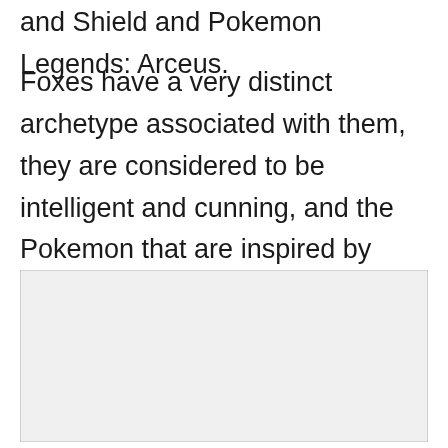and Shield and Pokemon Legends: Arceus.
Foxes have a very distinct archetype associated with them, they are considered to be intelligent and cunning, and the Pokemon that are inspired by these creatures embody these traits as well!
[Figure (photo): A light gray rectangular image placeholder, likely containing a Pokemon or fox-related image.]